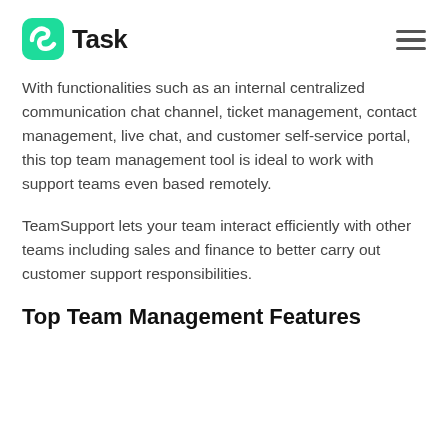nTask
With functionalities such as an internal centralized communication chat channel, ticket management, contact management, live chat, and customer self-service portal, this top team management tool is ideal to work with support teams even based remotely.
TeamSupport lets your team interact efficiently with other teams including sales and finance to better carry out customer support responsibilities.
Top Team Management Features